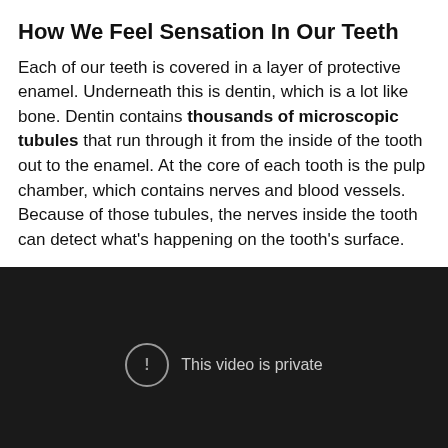How We Feel Sensation In Our Teeth
Each of our teeth is covered in a layer of protective enamel. Underneath this is dentin, which is a lot like bone. Dentin contains thousands of microscopic tubules that run through it from the inside of the tooth out to the enamel. At the core of each tooth is the pulp chamber, which contains nerves and blood vessels. Because of those tubules, the nerves inside the tooth can detect what's happening on the tooth's surface.
[Figure (other): Embedded video player showing a dark background with a circle-exclamation icon and the message 'This video is private']